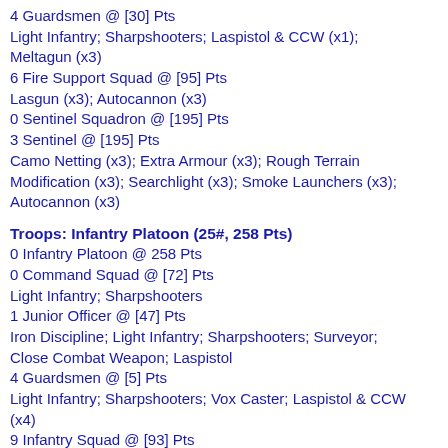4 Guardsmen @ [30] Pts
Light Infantry; Sharpshooters; Laspistol & CCW (x1); Meltagun (x3)
6 Fire Support Squad @ [95] Pts
Lasgun (x3); Autocannon (x3)
0 Sentinel Squadron @ [195] Pts
3 Sentinel @ [195] Pts
Camo Netting (x3); Extra Armour (x3); Rough Terrain Modification (x3); Searchlight (x3); Smoke Launchers (x3); Autocannon (x3)
Troops: Infantry Platoon (25#, 258 Pts)
0 Infantry Platoon @ 258 Pts
0 Command Squad @ [72] Pts
Light Infantry; Sharpshooters
1 Junior Officer @ [47] Pts
Iron Discipline; Light Infantry; Sharpshooters; Surveyor; Close Combat Weapon; Laspistol
4 Guardsmen @ [5] Pts
Light Infantry; Sharpshooters; Vox Caster; Laspistol & CCW (x4)
9 Infantry Squad @ [93] Pts